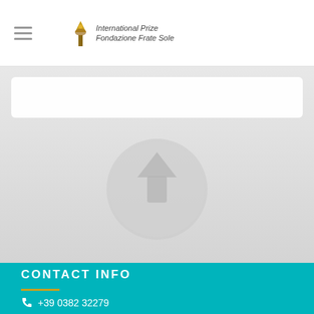International Prize Fondazione Frate Sole
[Figure (illustration): Gray background section with a light gray upward-pointing arrow inside a circle, centered in the section]
CONTACT INFO
+39 0382 32279